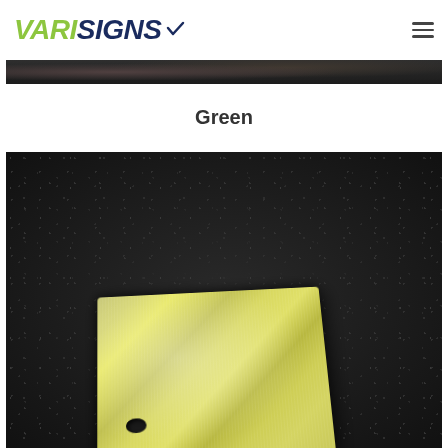VARISIGNS
[Figure (photo): Dark textured background strip at top of page]
Green
[Figure (photo): Photograph of a green/yellow-green brushed metal sign plate with a hole, placed on a dark textured background]